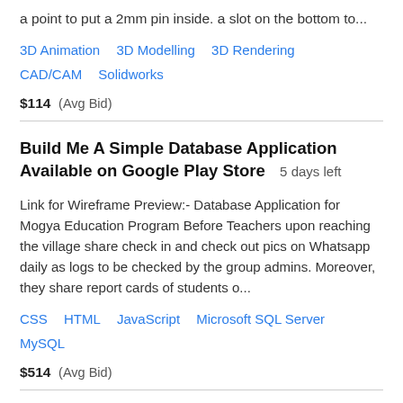a point to put a 2mm pin inside. a slot on the bottom to...
3D Animation   3D Modelling   3D Rendering   CAD/CAM   Solidworks
$114  (Avg Bid)
Build Me A Simple Database Application Available on Google Play Store  5 days left
Link for Wireframe Preview:- Database Application for Mogya Education Program Before Teachers upon reaching the village share check in and check out pics on Whatsapp daily as logs to be checked by the group admins. Moreover, they share report cards of students o...
CSS   HTML   JavaScript   Microsoft SQL Server   MySQL
$514  (Avg Bid)
Add URL to Google Sheet  5 days left  VERIFIED